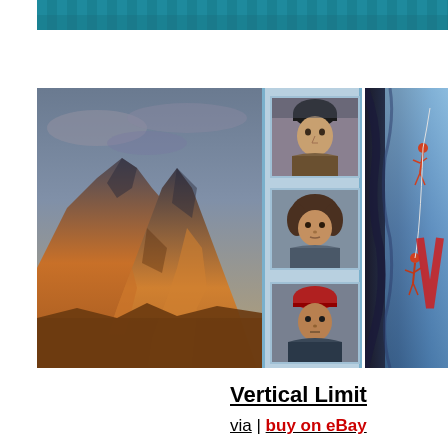[Figure (photo): Top cropped image strip showing a teal/blue textured background, appears to be top edge of a movie poster]
[Figure (photo): Vertical Limit movie poster composite: left side shows dramatic mountain peaks with orange and brown rocky cliffs under cloudy sky; center strip shows three actor headshots in blue-bordered frames (man with black beanie, woman with curly hair, person with red cap); right side shows ice cliff with climbers rappelling and partial red letter V visible]
Vertical Limit
via | buy on eBay